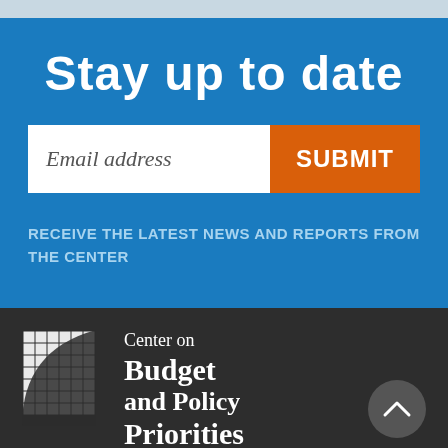Stay up to date
Email address
SUBMIT
RECEIVE THE LATEST NEWS AND REPORTS FROM THE CENTER
[Figure (logo): Center on Budget and Policy Priorities logo with grid/arc icon on dark background]